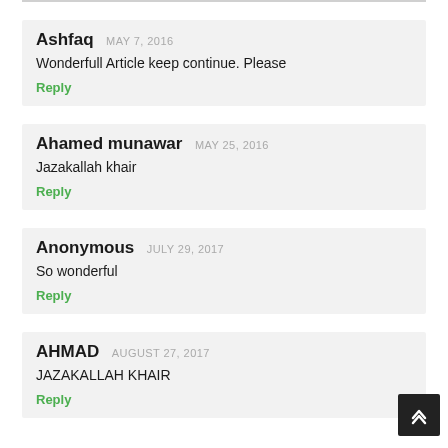Ashfaq MAY 7, 2016
Wonderfull Article keep continue. Please
Reply
Ahamed munawar MAY 25, 2016
Jazakallah khair
Reply
Anonymous JULY 29, 2017
So wonderful
Reply
AHMAD AUGUST 27, 2017
JAZAKALLAH KHAIR
Reply